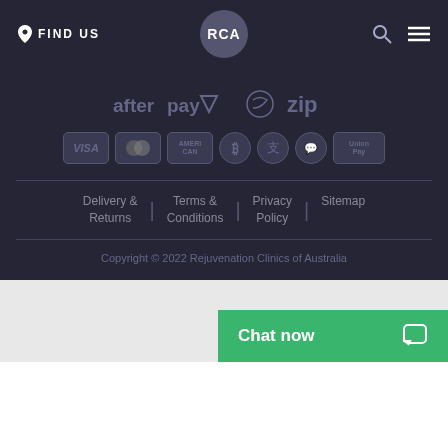FIND US | RCA
[Figure (logo): Afterpay and Zip payment logos]
[Figure (logo): Payment method icons: Visa, Mastercard, American Express, Bitcoin, Alipay, WeChat Pay, UnionPay]
Delivery & Returns | Terms & Conditions | Privacy Policy | Sitemap
Copyright © 2022 Rejuvenation Clinics of Australia
Chat now